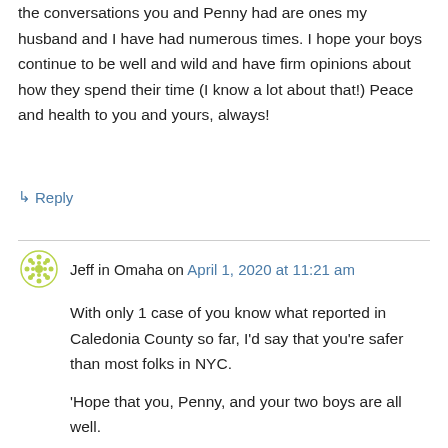the conversations you and Penny had are ones my husband and I have had numerous times. I hope your boys continue to be well and wild and have firm opinions about how they spend their time (I know a lot about that!) Peace and health to you and yours, always!
↳ Reply
Jeff in Omaha on April 1, 2020 at 11:21 am
With only 1 case of you know what reported in Caledonia County so far, I'd say that you're safer than most folks in NYC.
'Hope that you, Penny, and your two boys are all well.